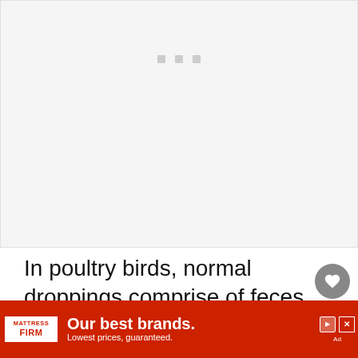[Figure (other): Large image placeholder area (image not loaded), light gray background with three small gray square dots/icons visible near the top center]
In poultry birds, normal droppings comprise of feces and urates. Waste that is digested is solid brown or grayish and is firm enough to hold its shape with
[Figure (screenshot): Advertisement banner for Mattress Firm: red background with Mattress Firm logo on the left, text 'Our best brands. Lowest prices, guaranteed.' in white, with ad control buttons (play/pause, close X) on the right]